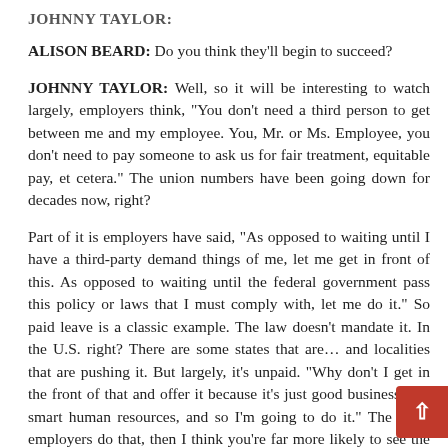JOHNNY TAYLOR:
ALISON BEARD: Do you think they'll begin to succeed?
JOHNNY TAYLOR: Well, so it will be interesting to watch largely, employers think, “You don’t need a third person to get between me and my employee. You, Mr. or Ms. Employee, you don’t need to pay someone to ask us for fair treatment, equitable pay, et cetera.” The union numbers have been going down for decades now, right?
Part of it is employers have said, “As opposed to waiting until I have a third-party demand things of me, let me get in front of this. As opposed to waiting until the federal government pass this policy or laws that I must comply with, let me do it.” So paid leave is a classic example. The law doesn’t mandate it. In the U.S. right? There are some states that are… and localities that are pushing it. But largely, it’s unpaid. “Why don’t I get in the front of that and offer it because it’s just good business? It’s smart human resources, and so I’m going to do it.” The more employers do that, then I think you’re far more likely to see the union numbers either stagnate or fall because why would I, why